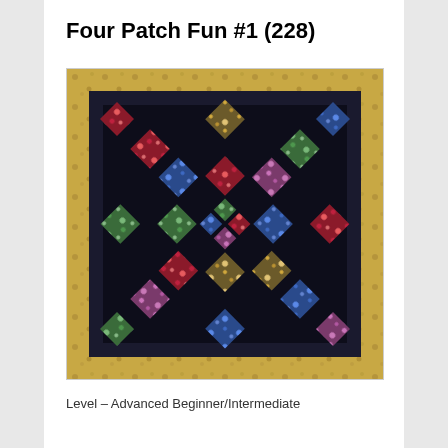Four Patch Fun #1 (228)
[Figure (photo): A quilt with a four-patch pattern featuring colorful floral fabrics arranged in a diamond/lattice design on a black background, bordered by a gold floral print fabric.]
Level – Advanced Beginner/Intermediate